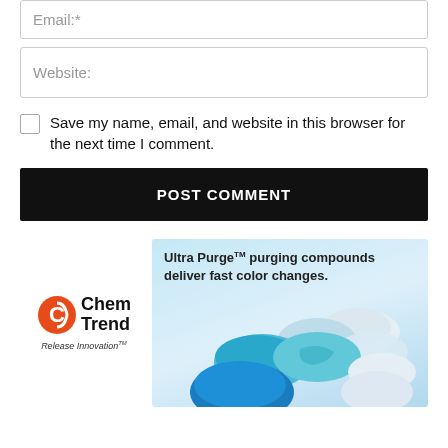Email:*
Website:
Save my name, email, and website in this browser for the next time I comment.
POST COMMENT
[Figure (illustration): Chem Trend advertisement showing Ultra Purge purging compounds with blue and white pill-shaped compounds on a light blue background. Chem Trend logo with orange icon and 'Release Innovation' tagline on the left.]